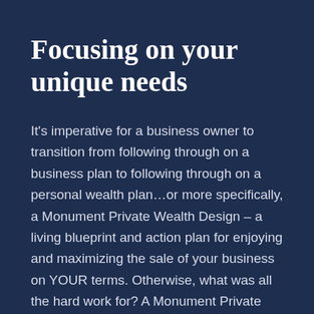Focusing on your unique needs
It's imperative for a business owner to transition from following through on a business plan to following through on a personal wealth plan…or more specifically, a Monument Private Wealth Design – a living blueprint and action plan for enjoying and maximizing the sale of your business on YOUR terms. Otherwise, what was all the hard work for? A Monument Private Wealth Design will go beyond the numbers to provide you true clarity on your big